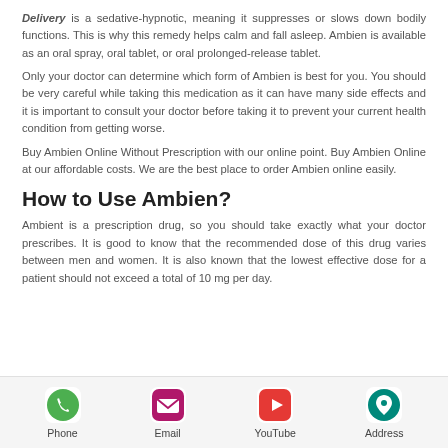Delivery is a sedative-hypnotic, meaning it suppresses or slows down bodily functions. This is why this remedy helps calm and fall asleep. Ambien is available as an oral spray, oral tablet, or oral prolonged-release tablet.
Only your doctor can determine which form of Ambien is best for you. You should be very careful while taking this medication as it can have many side effects and it is important to consult your doctor before taking it to prevent your current health condition from getting worse.
Buy Ambien Online Without Prescription with our online point. Buy Ambien Online at our affordable costs. We are the best place to order Ambien online easily.
How to Use Ambien?
Ambient is a prescription drug, so you should take exactly what your doctor prescribes. It is good to know that the recommended dose of this drug varies between men and women. It is also known that the lowest effective dose for a patient should not exceed a total of 10 mg per day.
Phone | Email | YouTube | Address